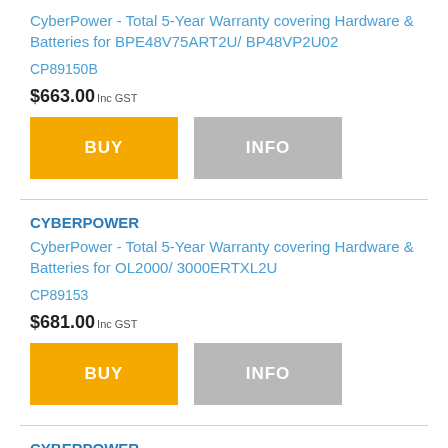CyberPower - Total 5-Year Warranty covering Hardware & Batteries for BPE48V75ART2U/ BP48VP2U02
CP89150B
$663.00 Inc GST
BUY
INFO
CYBERPOWER
CyberPower - Total 5-Year Warranty covering Hardware & Batteries for OL2000/ 3000ERTXL2U
CP89153
$681.00 Inc GST
BUY
INFO
CYBERPOWER